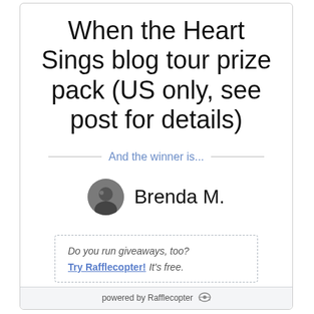When the Heart Sings blog tour prize pack (US only, see post for details)
And the winner is...
Brenda M.
Do you run giveaways, too? Try Rafflecopter! It's free.
powered by Rafflecopter